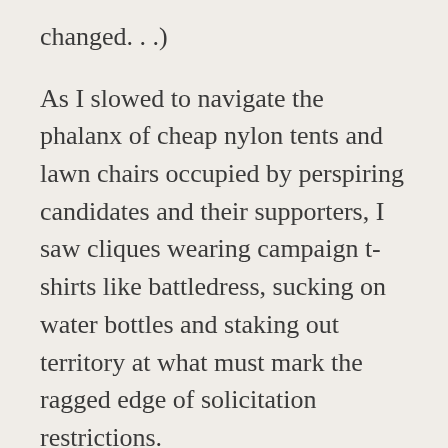( …  changed…)
As I slowed to navigate the phalanx of cheap nylon tents and lawn chairs occupied by perspiring candidates and their supporters, I saw cliques wearing campaign t-shirts like battledress, sucking on water bottles and staking out territory at what must mark the ragged edge of solicitation restrictions.
I assume they were acting out of some desperate belief that their very proximity to the door could sway a vote or two.
As I exited the Lone Eagle and began walking toward the door, I saw an “operative” circling